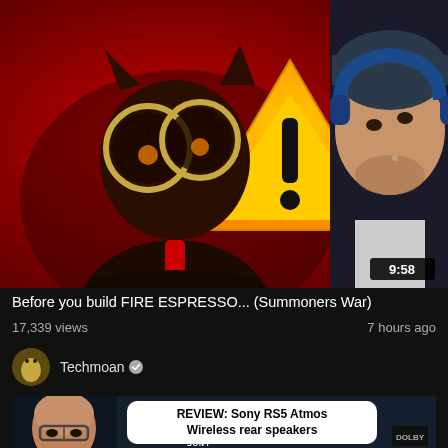[Figure (screenshot): YouTube video thumbnail showing animated villain character with large circular glasses on red background with warning triangle symbol, and a man with blue headphones and beanie on right side. Duration badge shows 9:58.]
Before you build FIRE ESPRESSO... (Summoners War)
17,339 views   7 hours ago
Techmoan ✓
[Figure (screenshot): YouTube video thumbnail for Techmoan review of Sony RS5 Atmos Wireless rear speakers. Shows man with glasses on left, white text box reading 'REVIEW: Sony RS5 Atmos Wireless rear speakers', Sony logo and Dolby logo visible.]